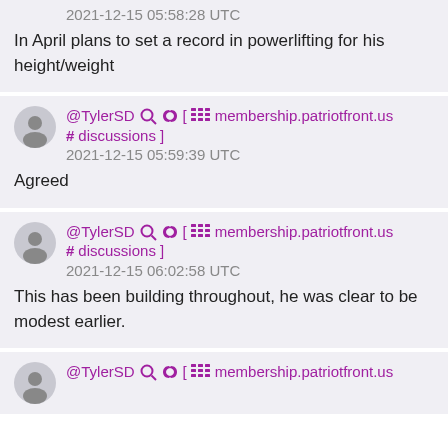2021-12-15 05:58:28 UTC
In April plans to set a record in powerlifting for his height/weight
@TylerSD 🔍 🔗 [ ▦ membership.patriotfront.us # discussions]
2021-12-15 05:59:39 UTC
Agreed
@TylerSD 🔍 🔗 [ ▦ membership.patriotfront.us # discussions]
2021-12-15 06:02:58 UTC
This has been building throughout, he was clear to be modest earlier.
@TylerSD 🔍 🔗 [ ▦ membership.patriotfront.us